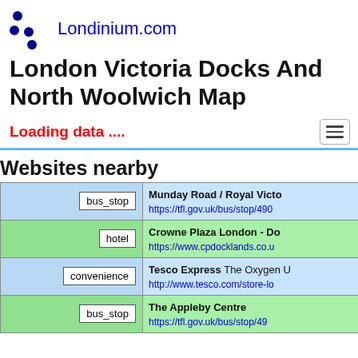Londinium.com
London Victoria Docks And North Woolwich Map
Loading data ....
Websites nearby
| Tag | Info |
| --- | --- |
| bus_stop | Munday Road / Royal Victo...
https://tfl.gov.uk/bus/stop/490... |
| hotel | Crowne Plaza London - Do...
https://www.cpdocklands.co.u... |
| convenience | Tesco Express The Oxygen U...
http://www.tesco.com/store-lo... |
| bus_stop | The Appleby Centre
https://tfl.gov.uk/bus/stop/49... |